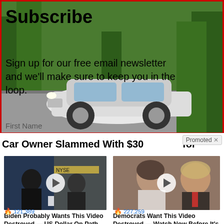[Figure (photo): White car driving on a suburban road with green trees, overlaid with a newsletter subscribe prompt. Text reads: Subscribe - Sign up for our free email newsletter and we'll make sure to keep you in the loop. First Name]
Car Owner Slammed With $30 [amount] for [reason]
Promoted X
[Figure (photo): Video thumbnail showing two men in suits at a financial news studio (NYSE background) with a play button overlay]
Biden Probably Wants This Video Destroyed — US Dollar On Path Towards Replacement?
121,389
[Figure (photo): Video thumbnail showing a woman and Donald Trump at what appears to be a public event, with a play button overlay]
Democrats Want This Video Destroyed — Watch Now Before It's Banned
227,259